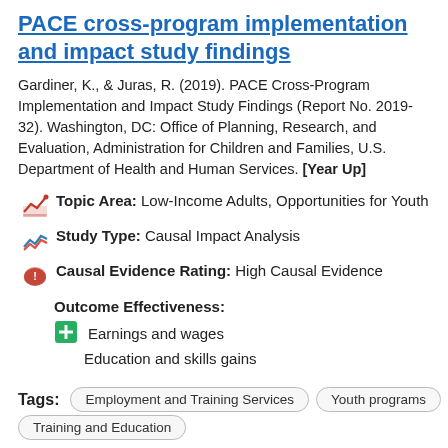PACE cross-program implementation and impact study findings
Gardiner, K., & Juras, R. (2019). PACE Cross-Program Implementation and Impact Study Findings (Report No. 2019-32). Washington, DC: Office of Planning, Research, and Evaluation, Administration for Children and Families, U.S. Department of Health and Human Services. [Year Up]
Topic Area: Low-Income Adults, Opportunities for Youth
Study Type: Causal Impact Analysis
Causal Evidence Rating: High Causal Evidence
Outcome Effectiveness: Earnings and wages; Education and skills gains
Tags: Employment and Training Services  Youth programs  Training and Education